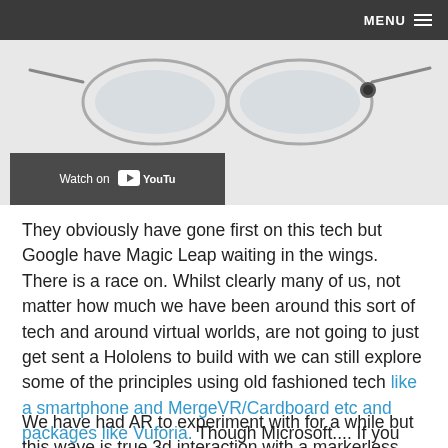MENU
[Figure (screenshot): Partial screenshot of smart glasses (like HoloLens or similar AR device) on light gray background, with a 'Watch on YouTube' button overlay in the lower left]
They obviously have gone first on this tech but Google have Magic Leap waiting in the wings. There is a race on. Whilst clearly many of us, not matter how much we have been around this sort of tech and around virtual worlds, are not going to just get sent a Hololens to build with we can still explore some of the principles using old fashioned tech like a smartphone and MergeVR/Cardboard etc and packages like Vuforia. Though Microsoft.... If you want to send me one or sign up a tech evangelist for this stuff (though it will sell itself) I am available anytime!
We have had AR to experiment with for a while but this wave is true 3d interaction with a markerless environment